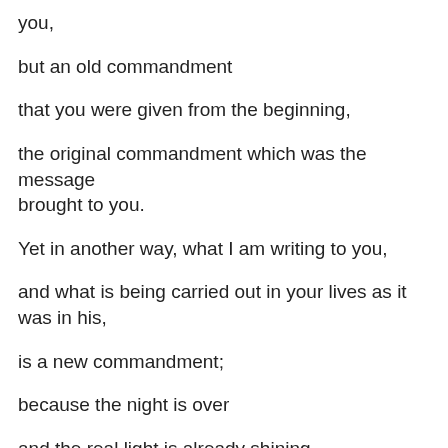you,
but an old commandment
that you were given from the beginning,
the original commandment which was the message brought to you.
Yet in another way, what I am writing to you,
and what is being carried out in your lives as it was in his,
is a new commandment;
because the night is over
and the real light is already shining.
Anyone who claims to be in the light